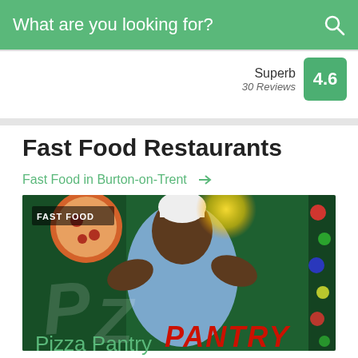What are you looking for?
Superb 30 Reviews 4.6
Fast Food Restaurants
Fast Food in Burton-on-Trent →
[Figure (photo): Pizza Pantry restaurant sign showing a cartoon pizza chef on a green background with the word PANTRY in red letters]
Pizza Pantry